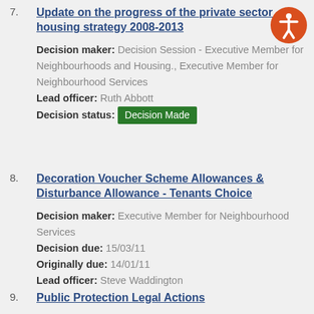7. Update on the progress of the private sector housing strategy 2008-2013
Decision maker: Decision Session - Executive Member for Neighbourhoods and Housing., Executive Member for Neighbourhood Services
Lead officer: Ruth Abbott
Decision status: Decision Made
8. Decoration Voucher Scheme Allowances & Disturbance Allowance - Tenants Choice
Decision maker: Executive Member for Neighbourhood Services
Decision due: 15/03/11
Originally due: 14/01/11
Lead officer: Steve Waddington
9. Public Protection Legal Actions